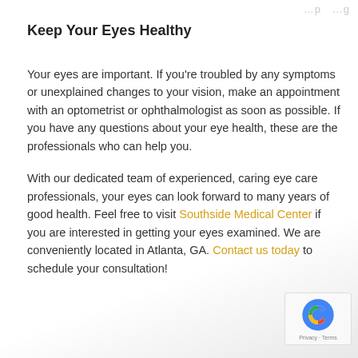…p …g
Keep Your Eyes Healthy
Your eyes are important. If you're troubled by any symptoms or unexplained changes to your vision, make an appointment with an optometrist or ophthalmologist as soon as possible. If you have any questions about your eye health, these are the professionals who can help you.
With our dedicated team of experienced, caring eye care professionals, your eyes can look forward to many years of good health. Feel free to visit Southside Medical Center if you are interested in getting your eyes examined. We are conveniently located in Atlanta, GA. Contact us today to schedule your consultation!